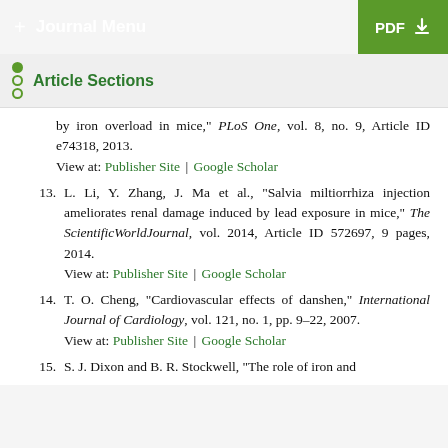+ Journal Menu | PDF
Article Sections
by iron overload in mice," PLoS One, vol. 8, no. 9, Article ID e74318, 2013.
View at: Publisher Site | Google Scholar
13. L. Li, Y. Zhang, J. Ma et al., "Salvia miltiorrhiza injection ameliorates renal damage induced by lead exposure in mice," The ScientificWorldJournal, vol. 2014, Article ID 572697, 9 pages, 2014.
View at: Publisher Site | Google Scholar
14. T. O. Cheng, "Cardiovascular effects of danshen," International Journal of Cardiology, vol. 121, no. 1, pp. 9–22, 2007.
View at: Publisher Site | Google Scholar
15. S. J. Dixon and B. R. Stockwell, "The role of iron and